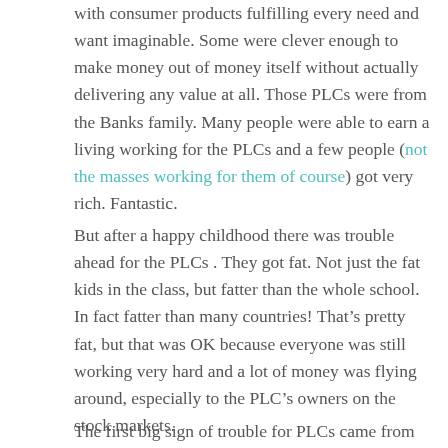with consumer products fulfilling every need and want imaginable. Some were clever enough to make money out of money itself without actually delivering any value at all. Those PLCs were from the Banks family. Many people were able to earn a living working for the PLCs and a few people (not the masses working for them of course) got very rich. Fantastic.
But after a happy childhood there was trouble ahead for the PLCs . They got fat. Not just the fat kids in the class, but fatter than the whole school. In fact fatter than many countries! That's pretty fat, but that was OK because everyone was still working very hard and a lot of money was flying around, especially to the PLC's owners on the stock markets.
The first big sign of trouble for PLCs came from those